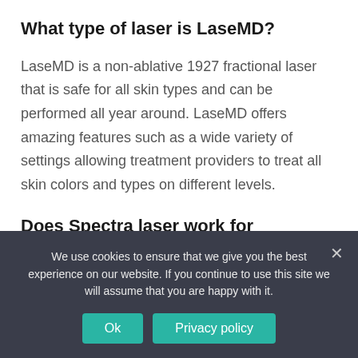What type of laser is LaseMD?
LaseMD is a non-ablative 1927 fractional laser that is safe for all skin types and can be performed all year around. LaseMD offers amazing features such as a wide variety of settings allowing treatment providers to treat all skin colors and types on different levels.
Does Spectra laser work for melasma?
The Spectra laser can effectively treat...
We use cookies to ensure that we give you the best experience on our website. If you continue to use this site we will assume that you are happy with it.